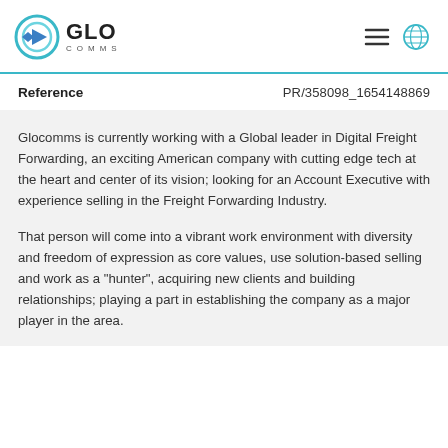GLO COMMS
Reference   PR/358098_1654148869
Glocomms is currently working with a Global leader in Digital Freight Forwarding, an exciting American company with cutting edge tech at the heart and center of its vision; looking for an Account Executive with experience selling in the Freight Forwarding Industry.
That person will come into a vibrant work environment with diversity and freedom of expression as core values, use solution-based selling and work as a "hunter", acquiring new clients and building relationships; playing a part in establishing the company as a major player in the area.